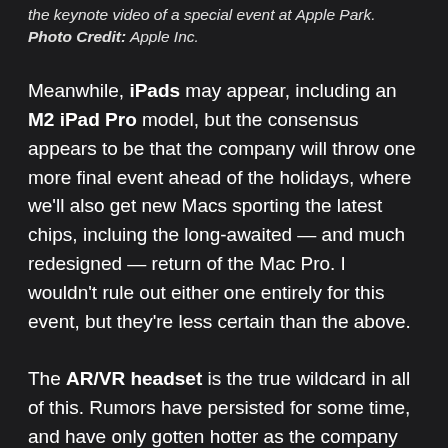the keynote video of a special event at Apple Park. Photo Credit: Apple Inc.
Meanwhile, iPads may appear, including an M2 iPad Pro model, but the consensus appears to be that the company will throw one more final event ahead of the holidays, where we'll also get new Macs sporting the latest chips, incluing the long-awaited — and much redesigned — return of the Mac Pro. I wouldn't rule out either one entirely for this event, but they're less certain than the above.
The AR/VR headset is the true wildcard in all of this. Rumors have persisted for some time, and have only gotten hotter as the company has applied for trademarks including, “Reality One,” “Reality Pro” and “Reality Processor.” It's also already said to have shown off a version of the headset to shareholders. At best, a preview could arrive, in order to entice developers to